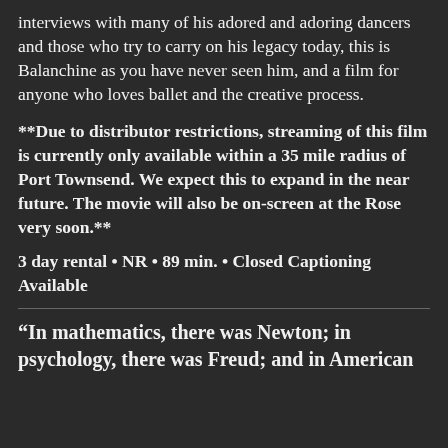interviews with many of his adored and adoring dancers and those who try to carry on his legacy today, this is Balanchine as you have never seen him, and a film for anyone who loves ballet and the creative process.
**Due to distributor restrictions, streaming of this film is currently only available within a 35 mile radius of Port Townsend. We expect this to expand in the near future. The movie will also be on-screen at the Rose very soon.**
3 day rental • NR • 89 min. • Closed Captioning Available
“In mathematics, there was Newton; in psychology, there was Freud; and in American